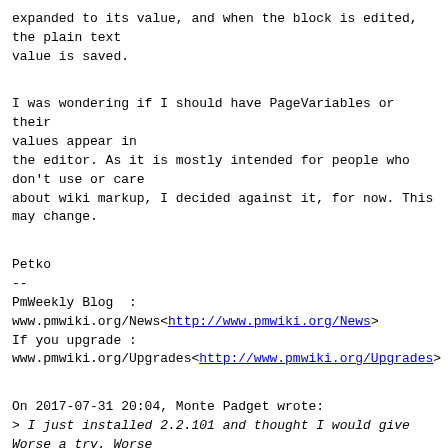expanded to its value, and when the block is edited,
the plain text
value is saved.
I was wondering if I should have PageVariables or their
values appear in
the editor. As it is mostly intended for people who
don't use or care
about wiki markup, I decided against it, for now. This
may change.
Petko
--
PmWeekly Blog  :
www.pmwiki.org/News<http://www.pmwiki.org/News>
If you upgrade :
www.pmwiki.org/Upgrades<http://www.pmwiki.org/Upgrades>
On 2017-07-31 20:04, Monte Padget wrote:
> I just installed 2.2.101 and thought I would give Worse a try. Worse
> seems to replace variables with the value in the save.
>
> (:worse:)
> This site is running {$Version}
> (:worseend:)
...
>